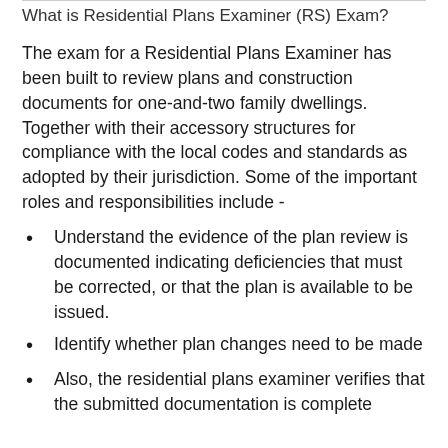What is Residential Plans Examiner (RS) Exam?
The exam for a Residential Plans Examiner has been built to review plans and construction documents for one-and-two family dwellings. Together with their accessory structures for compliance with the local codes and standards as adopted by their jurisdiction. Some of the important roles and responsibilities include -
Understand the evidence of the plan review is documented indicating deficiencies that must be corrected, or that the plan is available to be issued.
Identify whether plan changes need to be made
Also, the residential plans examiner verifies that the submitted documentation is complete